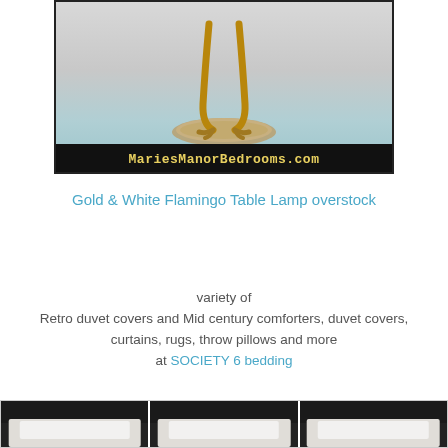[Figure (photo): Flamingo table lamp base with golden legs on a stone base, sitting on a light blue surface, with MariesManorBedrooms.com watermark bar at the bottom of the image.]
Gold & White Flamingo Table Lamp overstock
variety of
Retro duvet covers and Mid century comforters, duvet covers,
curtains, rugs, throw pillows and more
at SOCIETY 6 bedding
[Figure (photo): Three bedroom bedding product images showing pillows on dark headboards.]